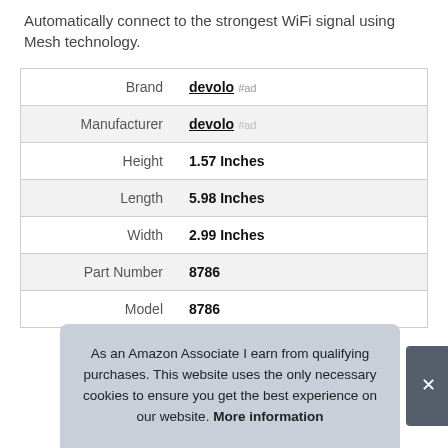Automatically connect to the strongest WiFi signal using Mesh technology.
|  |  |
| --- | --- |
| Brand | devolo #ad |
| Manufacturer | devolo #ad |
| Height | 1.57 Inches |
| Length | 5.98 Inches |
| Width | 2.99 Inches |
| Part Number | 8786 |
| Model | 8786 |
As an Amazon Associate I earn from qualifying purchases. This website uses the only necessary cookies to ensure you get the best experience on our website. More information